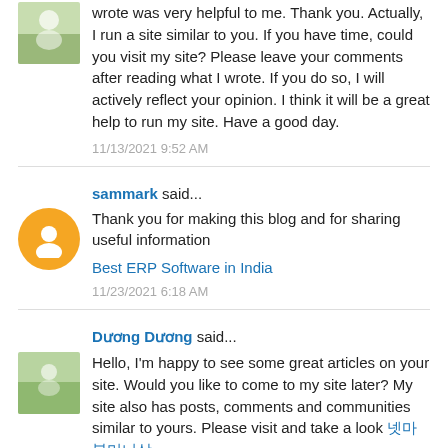wrote was very helpful to me. Thank you. Actually, I run a site similar to you. If you have time, could you visit my site? Please leave your comments after reading what I wrote. If you do so, I will actively reflect your opinion. I think it will be a great help to run my site. Have a good day.
11/13/2021 9:52 AM
sammark said...
Thank you for making this blog and for sharing useful information
Best ERP Software in India
11/23/2021 6:18 AM
Dương Dương said...
Hello, I'm happy to see some great articles on your site. Would you like to come to my site later? My site also has posts, comments and communities similar to yours. Please visit and take a look 넷마블머니상
11/23/2021 9:45 AM